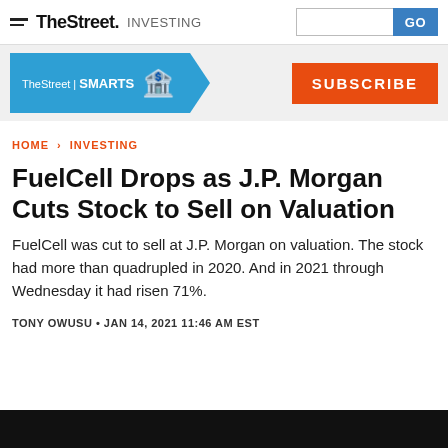TheStreet INVESTING
[Figure (logo): TheStreet SMARTS promotional banner with subscribe button]
HOME > INVESTING
FuelCell Drops as J.P. Morgan Cuts Stock to Sell on Valuation
FuelCell was cut to sell at J.P. Morgan on valuation. The stock had more than quadrupled in 2020. And in 2021 through Wednesday it had risen 71%.
TONY OWUSU • JAN 14, 2021 11:46 AM EST
[Figure (photo): Black image strip at the bottom of the page]